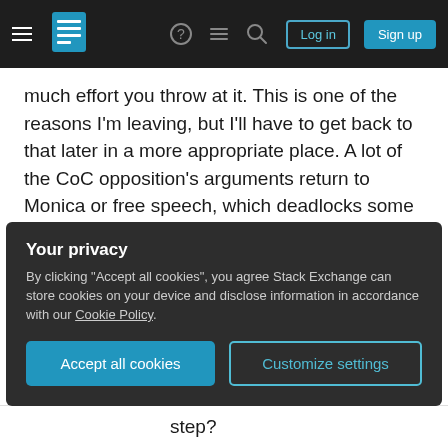Stack Exchange navigation bar with hamburger menu, logo, help, chat, search icons, Log in and Sign up buttons
much effort you throw at it. This is one of the reasons I'm leaving, but I'll have to get back to that later in a more appropriate place. A lot of the CoC opposition's arguments return to Monica or free speech, which deadlocks some discussions. The release being done the way it was made the community receive the change negatively before it was released. That alone was a warning sign SE should've taken seriously.
They've so far ignored the letters as well, and I can't
Your privacy
By clicking "Accept all cookies", you agree Stack Exchange can store cookies on your device and disclose information in accordance with our Cookie Policy.
Accept all cookies
Customize settings
step?